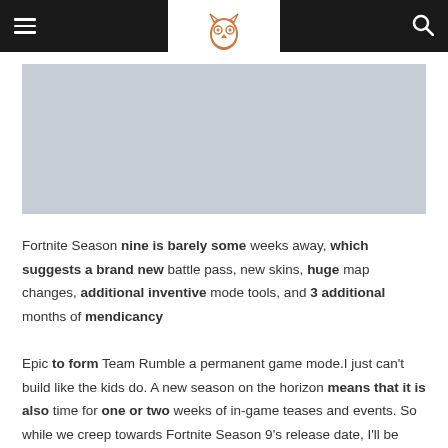Navigation header with hamburger menu, owl logo, and search icon
[Figure (photo): Large image placeholder with light gray/blue background]
Fortnite Season nine is barely some weeks away, which suggests a brand new battle pass, new skins, huge map changes, additional inventive mode tools, and 3 additional months of mendicancy
Epic to form Team Rumble a permanent game mode.I just can't build like the kids do. A new season on the horizon means that it is also time for one or two weeks of in-game teases and events. So while we creep towards Fortnite Season 9's release date, I'll be following the progression of in-game events and collecting all the facts